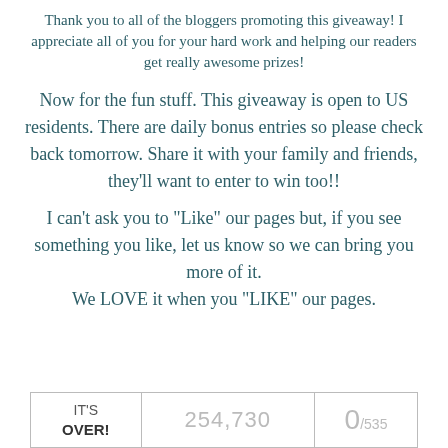Thank you to all of the bloggers promoting this giveaway! I appreciate all of you for your hard work and helping our readers get really awesome prizes!
Now for the fun stuff. This giveaway is open to US residents. There are daily bonus entries so please check back tomorrow. Share it with your family and friends, they'll want to enter to win too!!
I can't ask you to "Like" our pages but, if you see something you like, let us know so we can bring you more of it.
We LOVE it when you "LIKE" our pages.
| IT'S OVER! | 254,730 | 0/535 |
| --- | --- | --- |